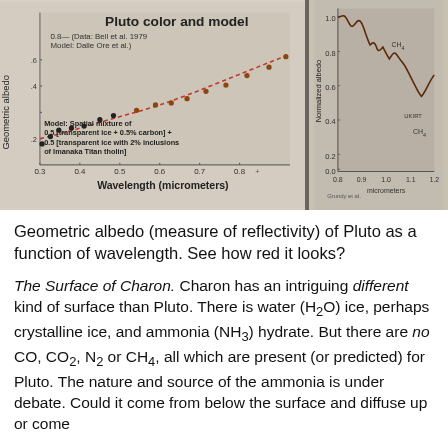[Figure (continuous-plot): Two-panel scientific figure. Left panel: 'Pluto color and model' showing geometric albedo vs wavelength (micrometers) from 0.3 to 0.8, with data points (Bell et al. 1979) and a red model curve (Dalle Ore et al.), rising from ~0.4 to ~0.7. Model is spatial mixture of 0.5 [transparent ice + 0.5% carbon] + 0.5 [transparent ice with 2% inclusions of Imanaka Titan tholin]. Right panel: Normalized albedo vs micrometers (0.8–1.2), showing CH4 absorption features.]
Geometric albedo (measure of reflectivity) of Pluto as a function of wavelength. See how red it looks?
The Surface of Charon. Charon has an intriguing different kind of surface than Pluto. There is water (H2O) ice, perhaps crystalline ice, and ammonia (NH3) hydrate. But there are no CO, CO2, N2 or CH4, all which are present (or predicted) for Pluto. The nature and source of the ammonia is under debate. Could it come from below the surface and diffuse up or come